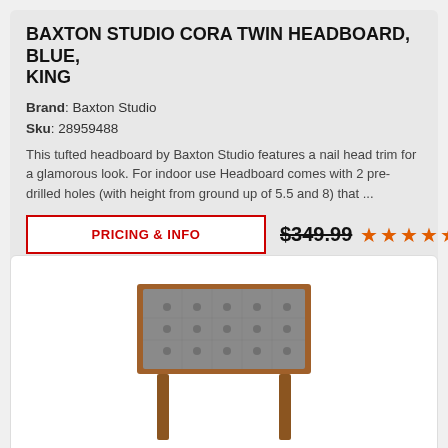BAXTON STUDIO CORA TWIN HEADBOARD, BLUE, KING
Brand: Baxton Studio
Sku: 28959488
This tufted headboard by Baxton Studio features a nail head trim for a glamorous look. For indoor use Headboard comes with 2 pre-drilled holes (with height from ground up of 5.5 and 8) that ...
PRICING & INFO  $349.99  ★★★★★
[Figure (photo): Tufted gray headboard with walnut wood frame, viewed from the front, showing button-tufted gray upholstery and brown wooden legs]